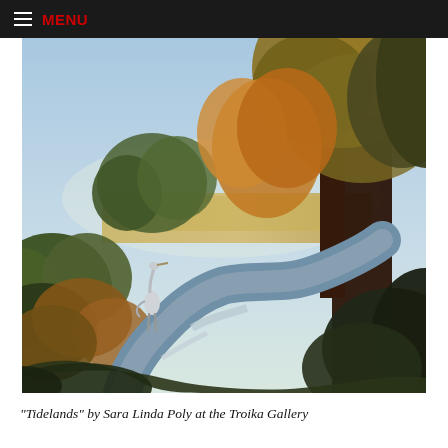MENU
[Figure (illustration): Oil painting titled 'Tidelands' showing a tranquil marshland scene with a winding creek or tidal waterway, flanked by large trees with golden and green autumn foliage. A great blue heron stands at the water's edge on the left. The background shows open golden marshgrass and a pale blue sky.]
"Tidelands" by Sara Linda Poly at the Troika Gallery